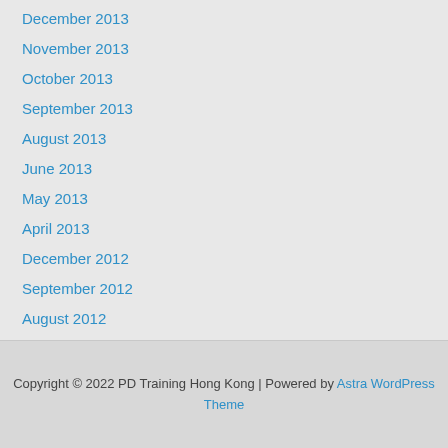December 2013
November 2013
October 2013
September 2013
August 2013
June 2013
May 2013
April 2013
December 2012
September 2012
August 2012
Copyright © 2022 PD Training Hong Kong | Powered by Astra WordPress Theme